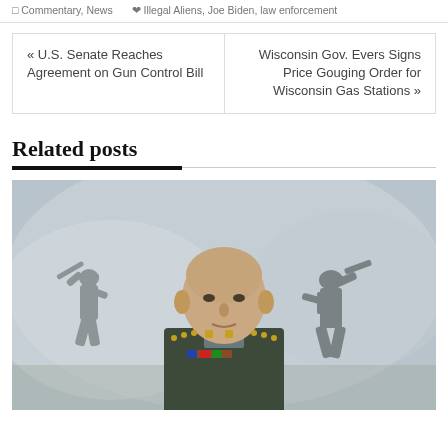Commentary, News | Illegal Aliens, Joe Biden, law enforcement
« U.S. Senate Reaches Agreement on Gun Control Bill
Wisconsin Gov. Evers Signs Price Gouging Order for Wisconsin Gas Stations »
Related posts
[Figure (photo): Military officer in dress uniform in foreground, soldiers running in smoky background]